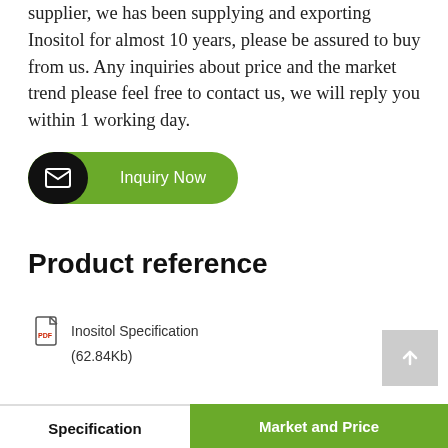supplier, we has been supplying and exporting Inositol for almost 10 years, please be assured to buy from us. Any inquiries about price and the market trend please feel free to contact us, we will reply you within 1 working day.
[Figure (other): Green 'Inquiry Now' button with black circular email icon on the left]
Product reference
Inositol Specification (62.84Kb)
[Figure (other): Grey back-to-top arrow button in bottom-right corner]
Specification
Market and Price